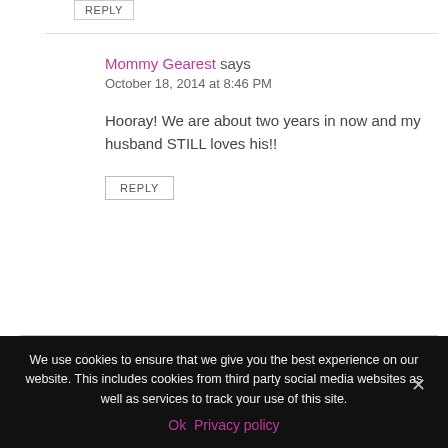REPLY
Mommy Gearest says
October 18, 2014 at 8:46 PM
Hooray! We are about two years in now and my husband STILL loves his!!
REPLY
We use cookies to ensure that we give you the best experience on our website. This includes cookies from third party social media websites as well as services to track your use of this site.
Ok   Privacy policy